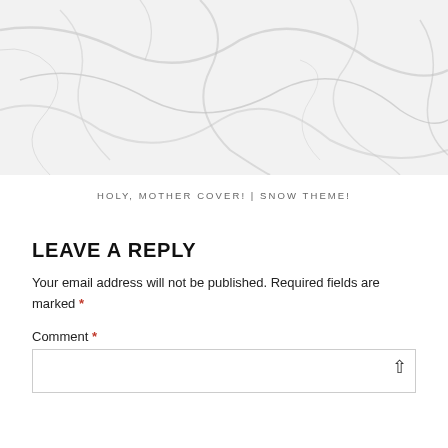[Figure (photo): White marble texture background with grey veining patterns]
HOLY, MOTHER COVER! | SNOW THEME!
LEAVE A REPLY
Your email address will not be published. Required fields are marked *
Comment *